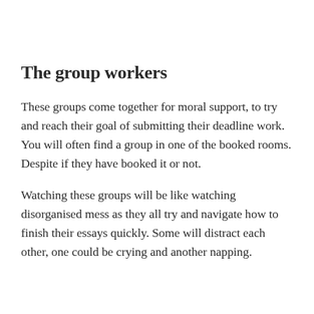The group workers
These groups come together for moral support, to try and reach their goal of submitting their deadline work. You will often find a group in one of the booked rooms. Despite if they have booked it or not.
Watching these groups will be like watching disorganised mess as they all try and navigate how to finish their essays quickly. Some will distract each other, one could be crying and another napping.